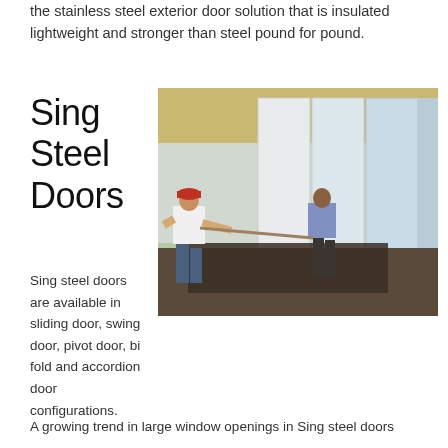the stainless steel exterior door solution that is insulated lightweight and stronger than steel pound for pound.
Sing Steel Doors
[Figure (photo): Two workers carrying a large lightweight Sing steel door panel in a warehouse setting with multiple white door panels visible in the background.]
Sing steel doors are available in sliding door, swing door, pivot door, bi fold and accordion door configurations.
A growing trend in large window openings in Sing steel doors